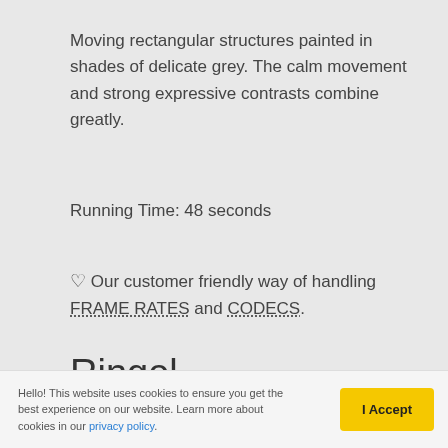Moving rectangular structures painted in shades of delicate grey. The calm movement and strong expressive contrasts combine greatly.
Running Time: 48 seconds
♡ Our customer friendly way of handling FRAME RATES and CODECS.
Ringel
Hello! This website uses cookies to ensure you get the best experience on our website. Learn more about cookies in our privacy policy.